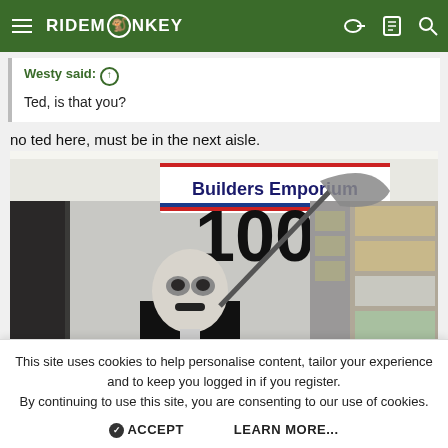RIDEMONKEY
Westy said: ↑
Ted, is that you?
no ted here, must be in the next aisle.
[Figure (photo): Person in a Halloween/grim reaper skeleton costume holding a scythe inside a Builders Emporium hardware store, with store shelves and a large '1000' sign visible in the background.]
This site uses cookies to help personalise content, tailor your experience and to keep you logged in if you register.
By continuing to use this site, you are consenting to our use of cookies.
✔ ACCEPT    LEARN MORE...